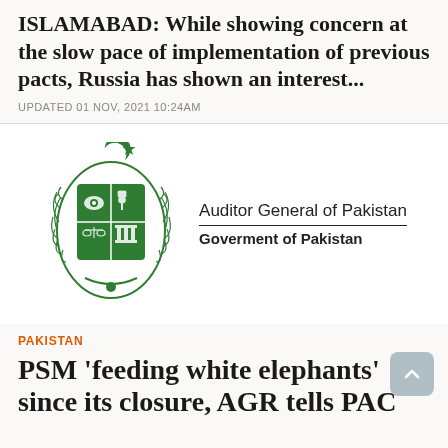ISLAMABAD: While showing concern at the slow pace of implementation of previous pacts, Russia has shown an interest...
UPDATED 01 NOV, 2021 10:24AM
[Figure (logo): Auditor General of Pakistan - Government of Pakistan official seal/logo with green emblem]
PAKISTAN
PSM 'feeding white elephants' since its closure, AGR tells PAC